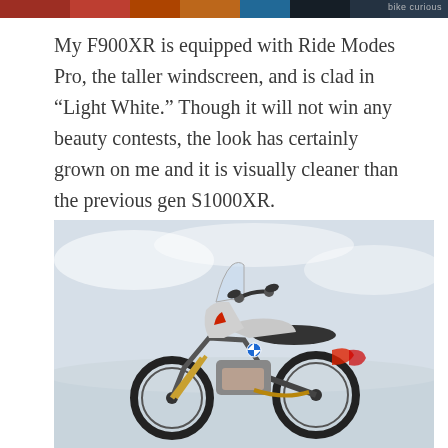[Figure (photo): Top strip image showing colorful motorcycles or riders, partially cropped, with a watermark reading 'bike curious' on the right side.]
My F900XR is equipped with Ride Modes Pro, the taller windscreen, and is clad in “Light White.” Though it will not win any beauty contests, the look has certainly grown on me and it is visually cleaner than the previous gen S1000XR.
[Figure (photo): BMW F900XR motorcycle in Light White color, photographed from front-left angle in a snowy outdoor setting. The bike features a tall windscreen, adventure touring styling, and golden fork legs visible at bottom.]